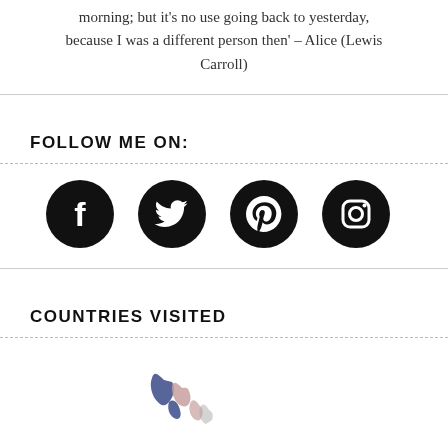morning; but it's no use going back to yesterday, because I was a different person then' – Alice (Lewis Carroll)
FOLLOW ME ON:
[Figure (illustration): Four social media icons (Facebook, Twitter, Pinterest, Instagram) as white symbols on black circles]
COUNTRIES VISITED
[Figure (map): Partial world map showing countries visited, with highlighted regions]